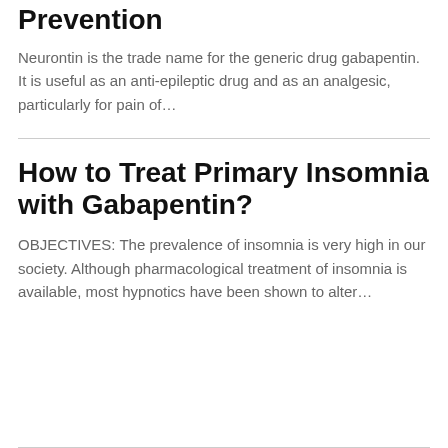Prevention
Neurontin is the trade name for the generic drug gabapentin. It is useful as an anti-epileptic drug and as an analgesic, particularly for pain of…
How to Treat Primary Insomnia with Gabapentin?
OBJECTIVES: The prevalence of insomnia is very high in our society. Although pharmacological treatment of insomnia is available, most hypnotics have been shown to alter…